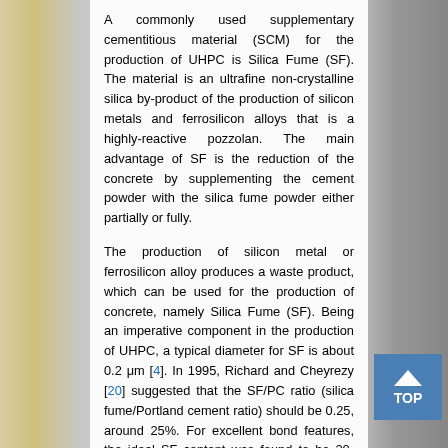A commonly used supplementary cementitious material (SCM) for the production of UHPC is Silica Fume (SF). The material is an ultrafine non-crystalline silica by-product of the production of silicon metals and ferrosilicon alloys that is a highly-reactive pozzolan. The main advantage of SF is the reduction of the concrete by supplementing the cement powder with the silica fume powder either partially or fully.
The production of silicon metal or ferrosilicon alloy produces a waste product, which can be used for the production of concrete, namely Silica Fume (SF). Being an imperative component in the production of UHPC, a typical diameter for SF is about 0.2 μm [4]. In 1995, Richard and Cheyrezy [20] suggested that the SF/PC ratio (silica fume/Portland cement ratio) should be 0.25, around 25%. For excellent bond features, the ideal SF content was found to be 20-30% [38], while some researchers resulted in